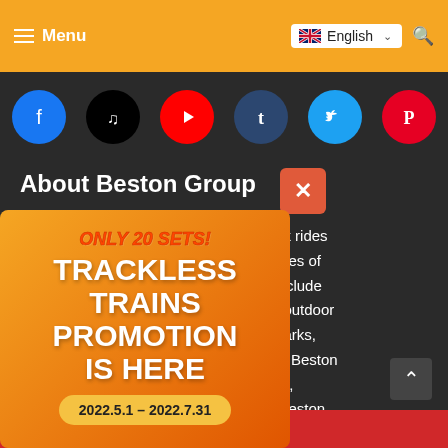Menu | English
[Figure (screenshot): Social media icons row: Facebook, TikTok, YouTube, Tumblr, Twitter, Pinterest]
About Beston Group
nal amusement park rides blies a large quantities of able prices which include g rides, indoor and outdoor n the amusement parks, un centers and etc. Beston rides to South Africa, ssia, etc. Contact Beston
[Figure (infographic): Promotional popup: ONLY 20 SETS! TRACKLESS TRAINS PROMOTION IS HERE — 2022.5.1 – 2022.7.31]